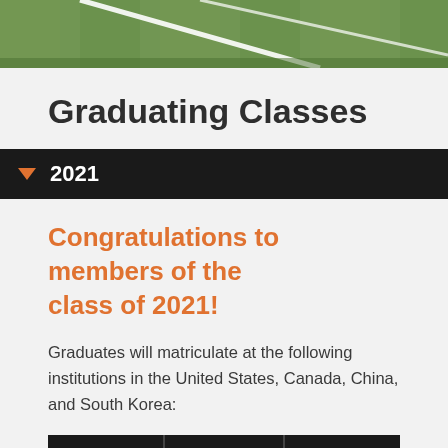[Figure (photo): Aerial or ground-level photo of a grass athletic field with white line markings]
Graduating Classes
▼ 2021
Congratulations to members of the class of 2021!
Graduates will matriculate at the following institutions in the United States, Canada, China, and South Korea:
| College / | Attended | College / |
| --- | --- | --- |